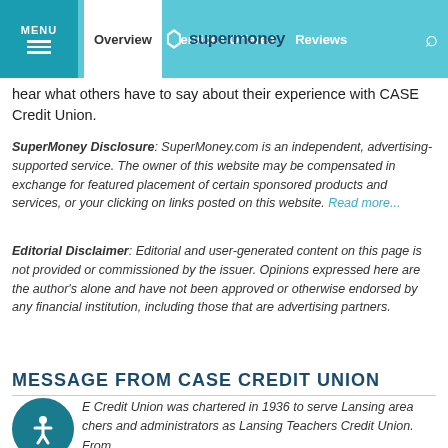MENU | Overview | Services Offered | Reviews | SuperMoney
hear what others have to say about their experience with CASE Credit Union.
SuperMoney Disclosure: SuperMoney.com is an independent, advertising-supported service. The owner of this website may be compensated in exchange for featured placement of certain sponsored products and services, or your clicking on links posted on this website. Read more...
Editorial Disclaimer: Editorial and user-generated content on this page is not provided or commissioned by the issuer. Opinions expressed here are the author's alone and have not been approved or otherwise endorsed by any financial institution, including those that are advertising partners.
MESSAGE FROM CASE CREDIT UNION
E Credit Union was chartered in 1936 to serve Lansing area chers and administrators as Lansing Teachers Credit Union. From